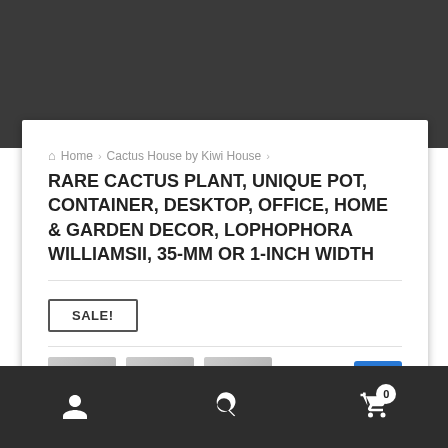Home › Cactus House by Kiwi House › RARE CACTUS PLANT, UNIQUE POT, CONTAINER, DESKTOP, OFFICE, HOME & GARDEN DECOR, LOPHOPHORA WILLIAMSII, 35-MM OR 1-INCH WIDTH
RARE CACTUS PLANT, UNIQUE POT, CONTAINER, DESKTOP, OFFICE, HOME & GARDEN DECOR, LOPHOPHORA WILLIAMSII, 35-MM OR 1-INCH WIDTH
SALE!
[Figure (photo): Product thumbnail images showing cactus plant in pot, partially visible at bottom of card]
User icon | Search icon | Cart icon with badge 0